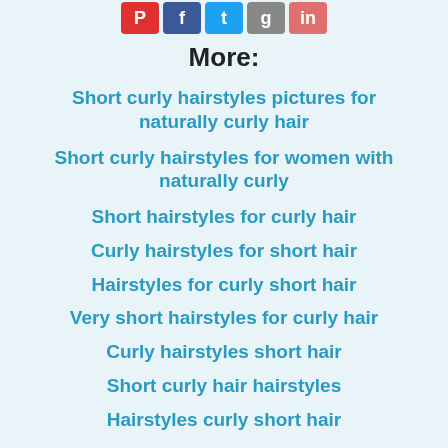[Figure (other): Social sharing icon buttons: red, dark blue (Facebook), light blue (Twitter), gray, and pink/red icons at top]
More:
Short curly hairstyles pictures for naturally curly hair
Short curly hairstyles for women with naturally curly
Short hairstyles for curly hair
Curly hairstyles for short hair
Hairstyles for curly short hair
Very short hairstyles for curly hair
Curly hairstyles short hair
Short curly hair hairstyles
Hairstyles curly short hair